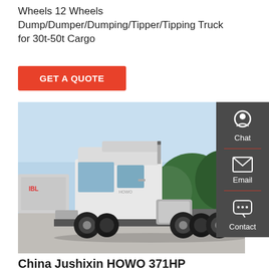Wheels 12 Wheels Dump/Dumper/Dumping/Tipper/Tipping Truck for 30t-50t Cargo
GET A QUOTE
[Figure (photo): Side view of a white HOWO heavy-duty truck (tractor unit) parked on a concrete surface with trees and industrial tankers visible in the background.]
China Jushixin HOWO 371HP